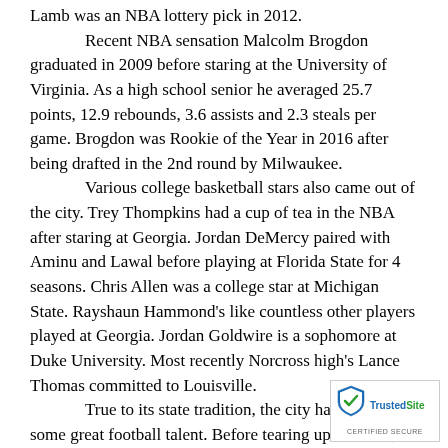Lamb was an NBA lottery pick in 2012.

Recent NBA sensation Malcolm Brogdon graduated in 2009 before staring at the University of Virginia. As a high school senior he averaged 25.7 points, 12.9 rebounds, 3.6 assists and 2.3 steals per game. Brogdon was Rookie of the Year in 2016 after being drafted in the 2nd round by Milwaukee.

Various college basketball stars also came out of the city. Trey Thompkins had a cup of tea in the NBA after staring at Georgia. Jordan DeMercy paired with Aminu and Lawal before playing at Florida State for 4 seasons. Chris Allen was a college star at Michigan State. Rayshaun Hammond's like countless other players played at Georgia. Jordan Goldwire is a sophomore at Duke University. Most recently Norcross high's Lance Thomas committed to Louisville.

True to its state tradition, the city has produced some great football talent. Before tearing up the NFL, running back Alvin Kamara called Norcross home. The school alumnis the legendary...
[Figure (logo): TrustedSite Certified Secure badge in bottom right corner]